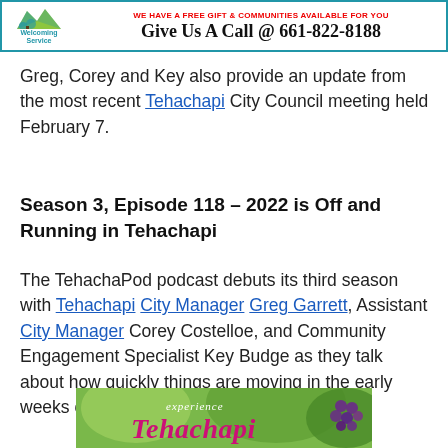[Figure (other): Banner advertisement for a Welcoming Service with mountain/tree logo, red text saying FREE and a phone number, and bold text: Give Us A Call @ 661-822-8188]
Greg, Corey and Key also provide an update from the most recent Tehachapi City Council meeting held February 7.
Season 3, Episode 118 – 2022 is Off and Running in Tehachapi
The TehachaPod podcast debuts its third season with Tehachapi City Manager Greg Garrett, Assistant City Manager Corey Costelloe, and Community Engagement Specialist Key Budge as they talk about how quickly things are moving in the early weeks of the new year.
[Figure (photo): Experience Tehachapi banner image with grapes and green leaves, showing pink/magenta italic text 'experience Tehachapi']